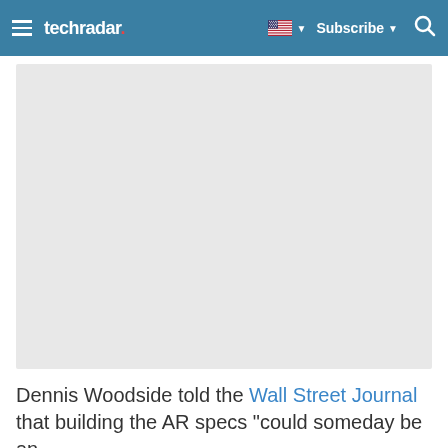techradar — Subscribe
[Figure (photo): Large image placeholder (light gray rectangle) for an article image related to AR specs story]
Dennis Woodside told the Wall Street Journal that building the AR specs "could someday be an